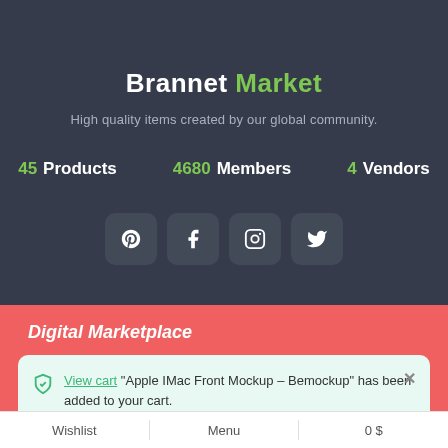Brannet Market
High quality items created by our global community.
45 Products | 4680 Members | 4 Vendors
[Figure (other): Social media icon buttons: Pinterest, Facebook, Instagram, Twitter]
Digital Marketplace
View cart "Apple IMac Front Mockup – Bemockup" has been added to your cart.
Wishlist | Menu | 0 $